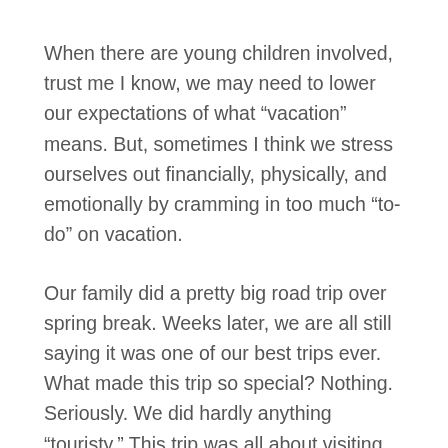When there are young children involved, trust me I know, we may need to lower our expectations of what “vacation” means. But, sometimes I think we stress ourselves out financially, physically, and emotionally by cramming in too much “to-do” on vacation.
Our family did a pretty big road trip over spring break. Weeks later, we are all still saying it was one of our best trips ever. What made this trip so special? Nothing. Seriously. We did hardly anything “touristy.” This trip was all about visiting friends and family and hanging out with each other.